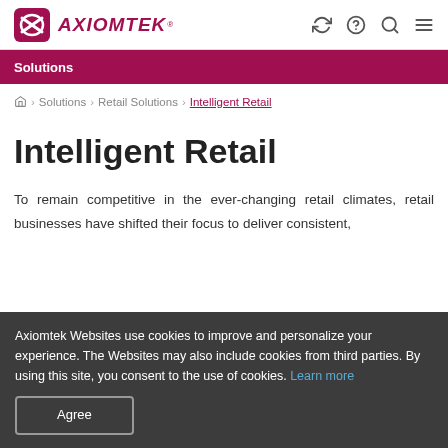AXIOMTEK
Solutions
Home > Solutions > Retail Solutions > Intelligent Retail
Intelligent Retail
To remain competitive in the ever-changing retail climates, retail businesses have shifted their focus to deliver consistent,
Axiomtek Websites use cookies to improve and personalize your experience. The Websites may also include cookies from third parties. By using this site, you consent to the use of cookies. Learn more Agree